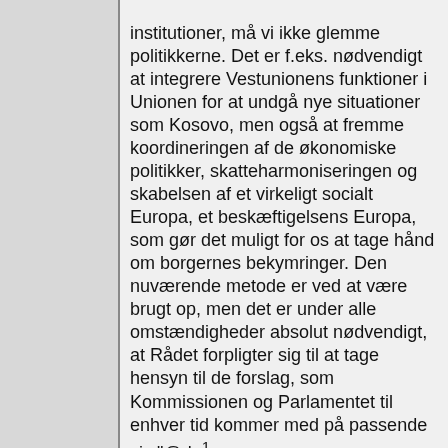institutioner, må vi ikke glemme politikkerne. Det er f.eks. nødvendigt at integrere Vestunionens funktioner i Unionen for at undgå nye situationer som Kosovo, men også at fremme koordineringen af de økonomiske politikker, skatteharmoniseringen og skabelsen af et virkeligt socialt Europa, et beskæftigelsens Europa, som gør det muligt for os at tage hånd om borgernes bekymringer. Den nuværende metode er ved at være brugt op, men det er under alle omstændigheder absolut nødvendigt, at Rådet forpligter sig til at tage hensyn til de forslag, som Kommissionen og Parlamentet til enhver tid kommer med på passende vis."@da¹ "Herr Präsident! Wie der Berichterstatter Leinen sehr richtig sagte, denken viele von